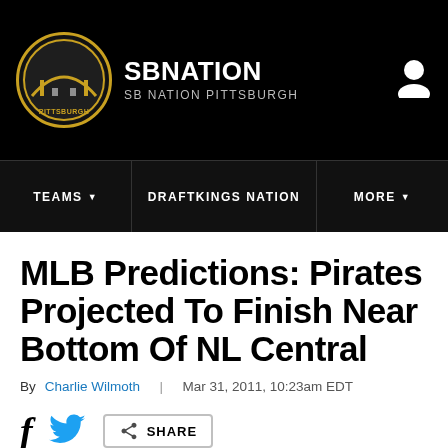SB NATION | SB NATION PITTSBURGH
MLB Predictions: Pirates Projected To Finish Near Bottom Of NL Central
By Charlie Wilmoth | Mar 31, 2011, 10:23am EDT
SHARE